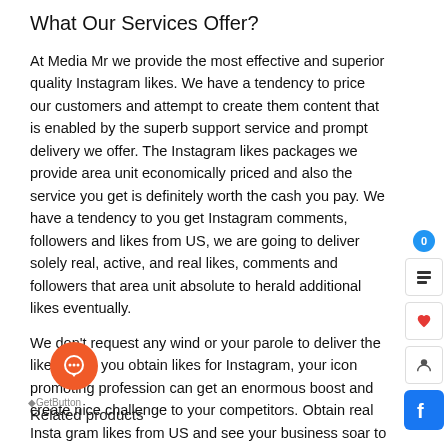What Our Services Offer?
At Media Mr we provide the most effective and superior quality Instagram likes. We have a tendency to price our customers and attempt to create them content that is enabled by the superb support service and prompt delivery we offer. The Instagram likes packages we provide area unit economically priced and also the service you get is definitely worth the cash you pay. We have a tendency to you get Instagram comments, followers and likes from US, we are going to deliver solely real, active, and real likes, comments and followers that area unit absolute to herald additional likes eventually.
We don’t request any wind or your parole to deliver the likes. After you obtain likes for Instagram, your icon promoting profession can get an enormous boost and create nice challenge to your competitors. Obtain real Insta gram likes from US and see your business soar to untouched heights! Contact US while not a reconsideration now!